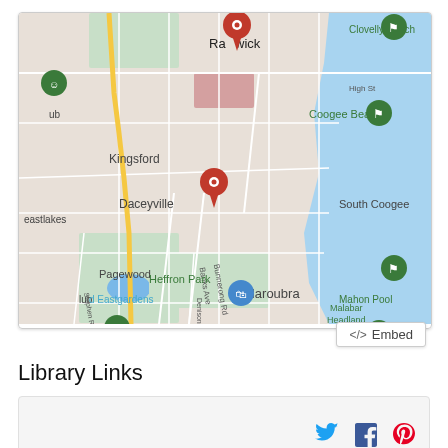[Figure (map): Google Maps screenshot showing the eastern suburbs of Sydney, Australia. Locations visible include Randwick, Clovelly Beach, Coogee Beach, Kingsford, Daceyville, Eastlakes, South Coogee, Pagewood, Eastgardens, Maroubra, Mahon Pool, Maroubra Beach, Heffron Park, and Malabar Headland. Two red map pins are visible — one near Randwick and one near Maroubra. Several green map marker icons (recreational/beach) and a blue shopping marker are also visible. The ocean (blue) is visible on the right side.]
</> Embed
Library Links